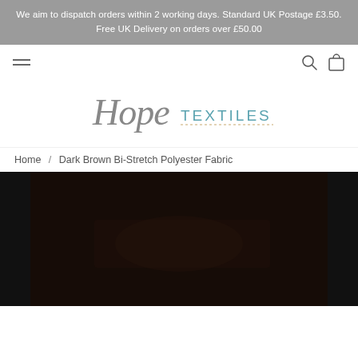We aim to dispatch orders within 2 working days. Standard UK Postage £3.50. Free UK Delivery on orders over £50.00
[Figure (logo): Hope Textiles logo with cursive 'Hope' in grey and 'TEXTILES' in teal/blue uppercase letters with a dashed underline]
Home / Dark Brown Bi-Stretch Polyester Fabric
[Figure (photo): Dark brown bi-stretch polyester fabric shown in very dark, almost black-brown color]